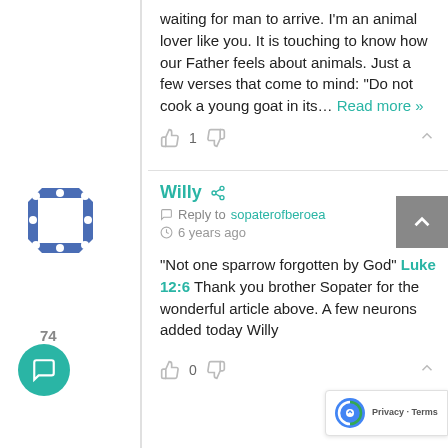waiting for man to arrive. I'm an animal lover like you. It is touching to know how our Father feels about animals. Just a few verses that come to mind: "Do not cook a young goat in its… Read more »
👍 1 👎 ︿
Willy 🔗 Reply to sopaterofberoea 🕐 6 years ago
"Not one sparrow forgotten by God" Luke 12:6 Thank you brother Sopater for the wonderful article above. A few neurons added today Willy
👍 0 👎 ︿
sopaterofberoea 🔗